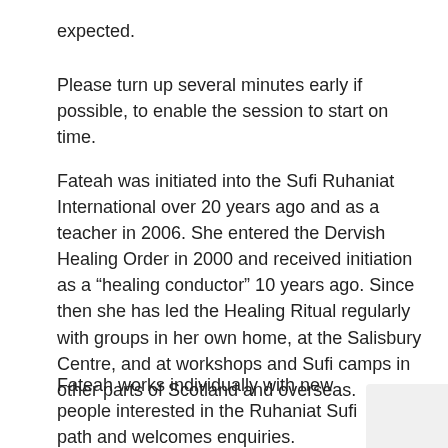expected.
Please turn up several minutes early if possible, to enable the session to start on time.
Fateah was initiated into the Sufi Ruhaniat International over 20 years ago and as a teacher in 2006. She entered the Dervish Healing Order in 2000 and received initiation as a “healing conductor” 10 years ago. Since then she has led the Healing Ritual regularly with groups in her own home, at the Salisbury Centre, and at workshops and Sufi camps in other parts of Scotland and overseas.
Fateah works individually with new people interested in the Ruhaniat Sufi path and welcomes enquiries.